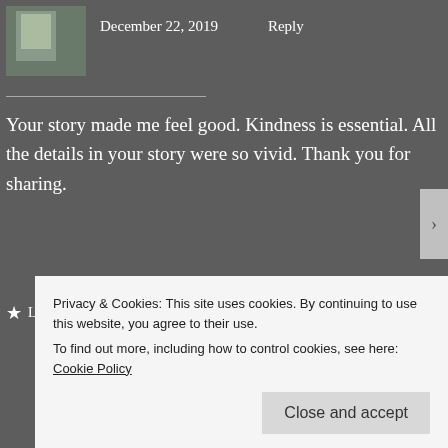[Figure (photo): Small avatar thumbnail of a person, partially visible]
December 22, 2019    Reply
Your story made me feel good. Kindness is essential. All the details in your story were so vivid. Thank you for sharing.
★ Liked by 2 people
[Figure (logo): Circular red avatar with 'ab' letters inside for user A.S.]
A.S.
Privacy & Cookies: This site uses cookies. By continuing to use this website, you agree to their use.
To find out more, including how to control cookies, see here: Cookie Policy
Close and accept